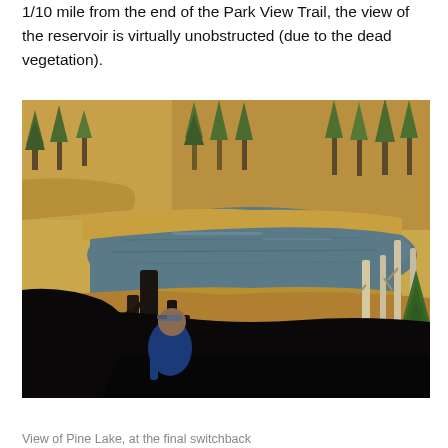1/10 mile from the end of the Park View Trail, the view of the reservoir is virtually unobstructed (due to the dead vegetation).
[Figure (photo): Outdoor photograph showing a hiker looking down at Pine Lake (a reservoir) from a hillside. Dead and burned tree trunks are visible in the foreground on both sides. Golden dry grasses and surviving conifer trees line the hills around the blue-green lake. The scene is sunlit with warm tones.]
View of Pine Lake, at the final switchback